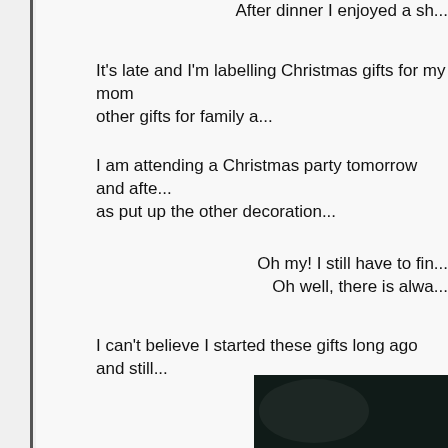After dinner I enjoyed a sh...
It's late and I'm labelling Christmas gifts for my mom... other gifts for family a...
I am attending a Christmas party tomorrow and afte... as put up the other decoratio...
Oh my! I still have to fin... Oh well, there is alwa...
I can't believe I started these gifts long ago and still... up :-)
[Figure (photo): Dark photograph showing a dark rounded object against a dark background]